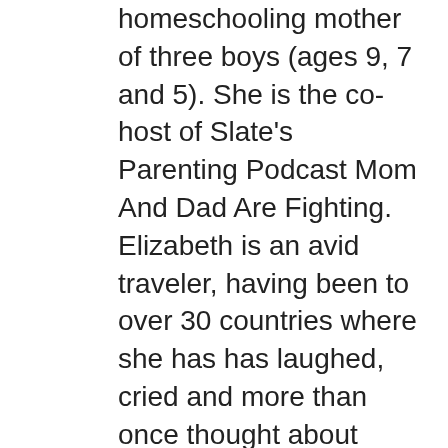homeschooling mother of three boys (ages 9, 7 and 5). She is the co-host of Slate's Parenting Podcast Mom And Dad Are Fighting. Elizabeth is an avid traveler, having been to over 30 countries where she has has laughed, cried and more than once thought about kicking the travel habit until her kids are grown. Elizabeth holds a Juris Doctorate from Emory Law and has worked for NASA, the FAA and a media consulting firm in Washington D.C. Elizabeth is married to an officer in the United States Air Force and has thus called Georgia, Indiana, California, Colorado, The Netherlands and Florida home. She is actively engaged in her community, enjoys the